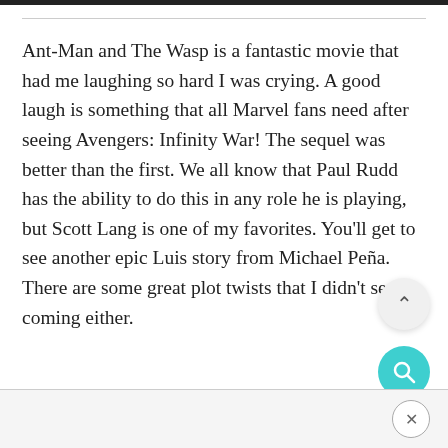Ant-Man and The Wasp is a fantastic movie that had me laughing so hard I was crying. A good laugh is something that all Marvel fans need after seeing Avengers: Infinity War! The sequel was better than the first. We all know that Paul Rudd has the ability to do this in any role he is playing, but Scott Lang is one of my favorites. You’ll get to see another epic Luis story from Michael Peña. There are some great plot twists that I didn’t see coming either.